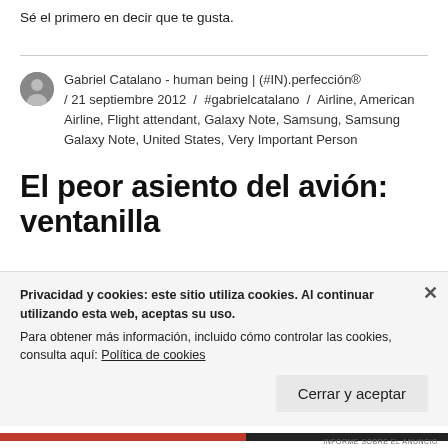Sé el primero en decir que te gusta.
Gabriel Catalano - human being | (#IN).perfección® / 21 septiembre 2012 / #gabrielcatalano / Airline, American Airline, Flight attendant, Galaxy Note, Samsung, Samsung Galaxy Note, United States, Very Important Person
El peor asiento del avión: ventanilla
Privacidad y cookies: este sitio utiliza cookies. Al continuar utilizando esta web, aceptas su uso.
Para obtener más información, incluido cómo controlar las cookies, consulta aquí: Política de cookies